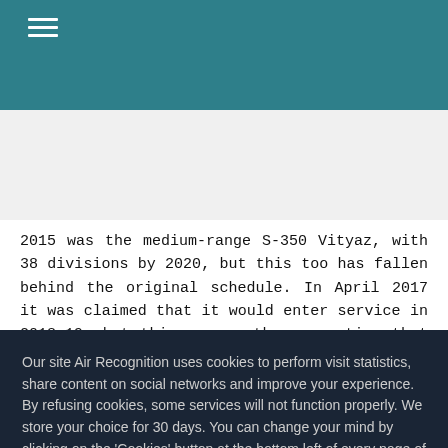≡
2015 was the medium-range S-350 Vityaz, with 38 divisions by 2020, but this too has fallen behind the original schedule. In April 2017 it was claimed that it would enter service in 2018-19, but this was on the assumption that state testing would be completed in 2017.39 There is no evidence that this was achieved; indeed the S-350 is very rarely mentioned in the Russian media although according to the general
Our site Air Recognition uses cookies to perform visit statistics, share content on social networks and improve your experience. By refusing cookies, some services will not function properly. We store your choice for 30 days. You can change your mind by clicking on the 'Cookies' button at the bottom left of every page of our site. Learn more
Settings
Accept all
Refuse all